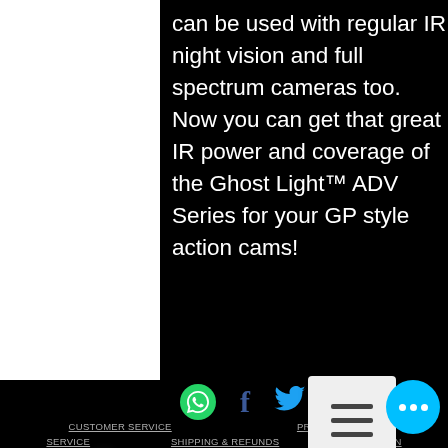can be used with regular IR night vision and full spectrum cameras too. Now you can get that great IR power and coverage of the Ghost Light™ ADV Series for your GP style action cams!
[Figure (logo): Social media icons row: WhatsApp (green circle), Facebook (f), Twitter (bird), Pinterest (P)]
[Figure (other): Menu overlay box with hamburger icon (three horizontal lines)]
[Figure (logo): Gotcha Ghost logo text in decorative serif small-caps style]
[Figure (logo): YouTube logo with 'You' in white and 'Tube' in red button]
CUSTOMER SERVICE   PRIVACY POLICY   SERVICE   SHIPPING & REFUNDS   RETURN